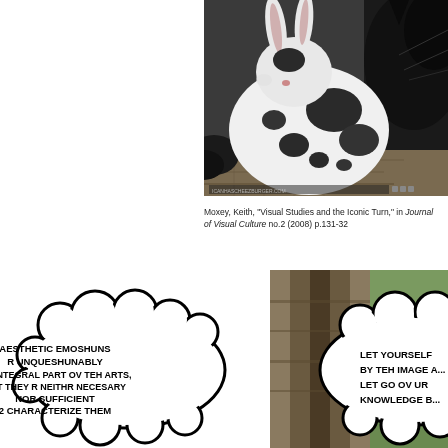[Figure (photo): A black and white spotted rabbit sitting on a wooden surface, with a black cat visible in the background. Watermark text visible at bottom: ICANHASCHEEZBURGER.COM]
Moxey, Keith, "Visual Studies and the Iconic Turn," in Journal of Visual Culture no.2 (2008) p.131-32
[Figure (illustration): Comic-style illustration of two speech/thought bubbles (cloud shapes). Left bubble contains text: AESTHETIC EMOSHUNS R UNQUESHUNABLY AN INTEGRAL PART OV TEH ARTS, BUT THEY R NEITHR NECESARY NOR SUFFICIENT 2 CHARACTERIZE THEM. Right bubble (partially visible) contains text: LET YOURSELF BY TEH IMAGE AND LET GO OV UR KNOWLEDGE B...]